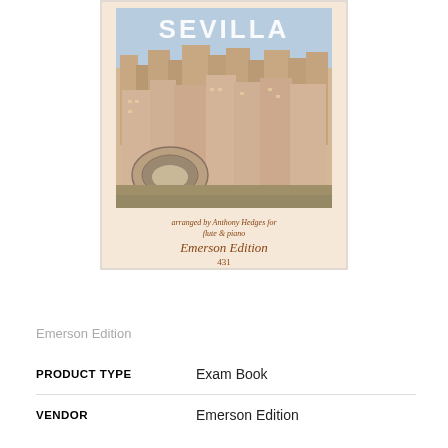[Figure (illustration): Book cover for 'Sevilla' showing an illustrated cityscape of Seville with buildings and a bullring. Below the image: 'arranged by Anthony Hedges for flute & piano', 'Emerson Edition', '431'. The cover has a beige/cream background.]
Emerson Edition
| PRODUCT TYPE | Exam Book |
| VENDOR | Emerson Edition |